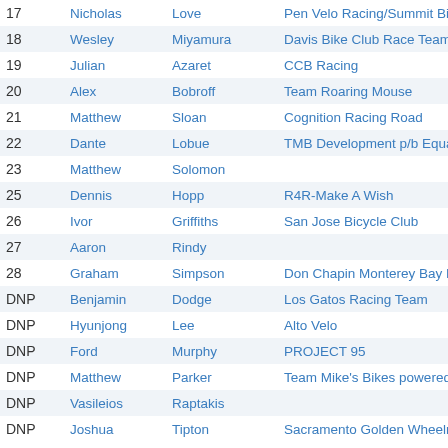| Place | First Name | Last Name | Team |
| --- | --- | --- | --- |
| 17 | Nicholas | Love | Pen Velo Racing/Summit Bicycles |
| 18 | Wesley | Miyamura | Davis Bike Club Race Team |
| 19 | Julian | Azaret | CCB Racing |
| 20 | Alex | Bobroff | Team Roaring Mouse |
| 21 | Matthew | Sloan | Cognition Racing Road |
| 22 | Dante | Lobue | TMB Development p/b Equator Coffees |
| 23 | Matthew | Solomon |  |
| 25 | Dennis | Hopp | R4R-Make A Wish |
| 26 | Ivor | Griffiths | San Jose Bicycle Club |
| 27 | Aaron | Rindy |  |
| 28 | Graham | Simpson | Don Chapin Monterey Bay Racing Team |
| DNP | Benjamin | Dodge | Los Gatos Racing Team |
| DNP | Hyunjong | Lee | Alto Velo |
| DNP | Ford | Murphy | PROJECT 95 |
| DNP | Matthew | Parker | Team Mike's Bikes powered by Equato |
| DNP | Vasileios | Raptakis |  |
| DNP | Joshua | Tipton | Sacramento Golden Wheelmen |